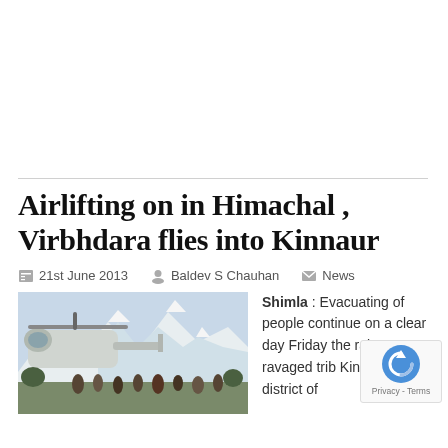Airlifting on in Himachal , Virbhdara flies into Kinnaur
21st June 2013   Baldev S Chauhan   News
[Figure (photo): Military/rescue helicopter with crowd of people in front, snow-capped mountains in background]
Shimla : Evacuating of people continue on a clear day Friday the rain ravaged trib Kinnaur district of